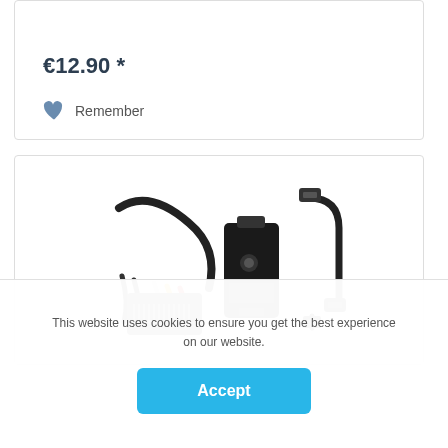€12.90 *
Remember
[Figure (photo): Product photo showing a USB video capture device with cables: a bundle of colored RCA cables (white, yellow, red) with a SCART connector, a black USB capture dongle, and a short USB cable with two connectors]
This website uses cookies to ensure you get the best experience on our website.
Accept